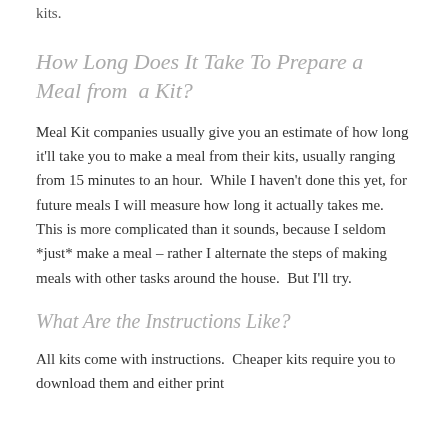kits.
How Long Does It Take To Prepare a Meal from a Kit?
Meal Kit companies usually give you an estimate of how long it'll take you to make a meal from their kits, usually ranging from 15 minutes to an hour.  While I haven't done this yet, for future meals I will measure how long it actually takes me.  This is more complicated than it sounds, because I seldom *just* make a meal – rather I alternate the steps of making meals with other tasks around the house.  But I'll try.
What Are the Instructions Like?
All kits come with instructions.  Cheaper kits require you to download them and either print